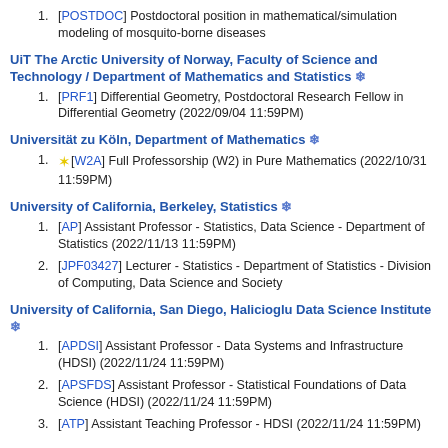[POSTDOC] Postdoctoral position in mathematical/simulation modeling of mosquito-borne diseases
UiT The Arctic University of Norway, Faculty of Science and Technology / Department of Mathematics and Statistics ❄
[PRF1] Differential Geometry, Postdoctoral Research Fellow in Differential Geometry (2022/09/04 11:59PM)
Universität zu Köln, Department of Mathematics ❄
[W2A] Full Professorship (W2) in Pure Mathematics (2022/10/31 11:59PM)
University of California, Berkeley, Statistics ❄
[AP] Assistant Professor - Statistics, Data Science - Department of Statistics (2022/11/13 11:59PM)
[JPF03427] Lecturer - Statistics - Department of Statistics - Division of Computing, Data Science and Society
University of California, San Diego, Halicioglu Data Science Institute ❄
[APDSI] Assistant Professor - Data Systems and Infrastructure (HDSI) (2022/11/24 11:59PM)
[APSFDS] Assistant Professor - Statistical Foundations of Data Science (HDSI) (2022/11/24 11:59PM)
[ATP] Assistant Teaching Professor - HDSI (2022/11/24 11:59PM)